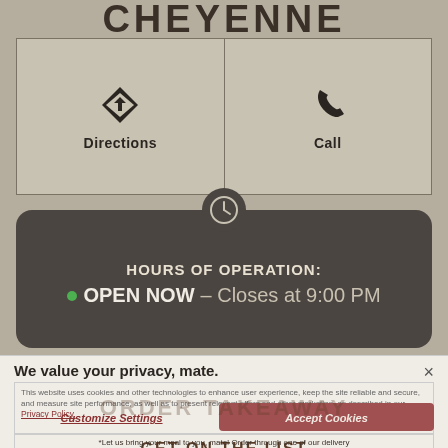CHEYENNE
| Directions | Call |
| --- | --- |
|  |
HOURS OF OPERATION:
OPEN NOW – Closes at 9:00 PM
We value your privacy, mate.
This website uses cookies and other technologies to enhance user experience, keep the site reliable and secure, and measure site performance, as well as to present relevant offers and other marketing, as described in our Privacy Policy.
ORDER TAKEAWAY
GET ON THE LIST
Customize Settings
Accept Cookies
*Let us bring your meal to you, mate! Order through one of our delivery